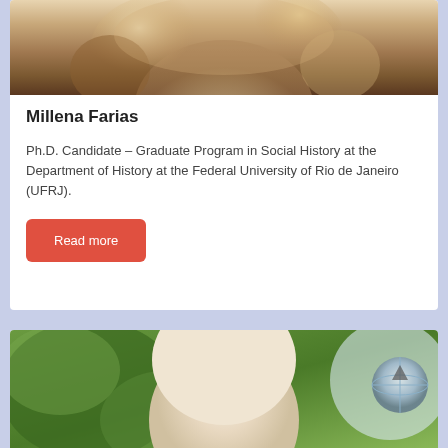[Figure (photo): Partial photo of a woman with wavy brown and blonde highlighted hair, cropped at the top of the card]
Millena Farias
Ph.D. Candidate – Graduate Program in Social History at the Department of History at the Federal University of Rio de Janeiro (UFRJ).
Read more
[Figure (photo): Partial photo of a bald man with green foliage in the background, cropped at the bottom of the page]